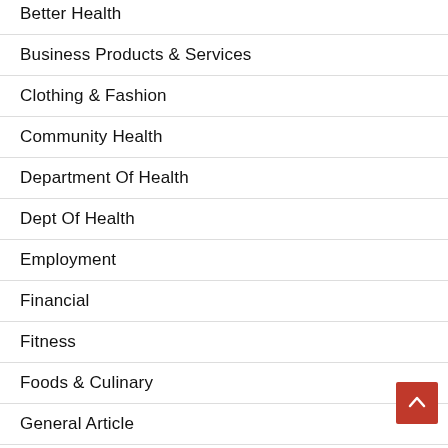Better Health
Business Products & Services
Clothing & Fashion
Community Health
Department Of Health
Dept Of Health
Employment
Financial
Fitness
Foods & Culinary
General Article
General Articles
Global Health
Good Health